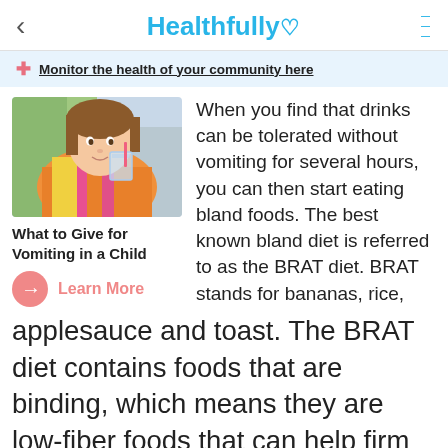< Healthfully ♡ ≡
Monitor the health of your community here
[Figure (photo): Young girl drinking from a glass while wearing colorful clothing]
What to Give for Vomiting in a Child
Learn More
When you find that drinks can be tolerated without vomiting for several hours, you can then start eating bland foods. The best known bland diet is referred to as the BRAT diet. BRAT stands for bananas, rice, applesauce and toast. The BRAT diet contains foods that are binding, which means they are low-fiber foods that can help firm up your stool, states the Family Doctor 2. The bananas are